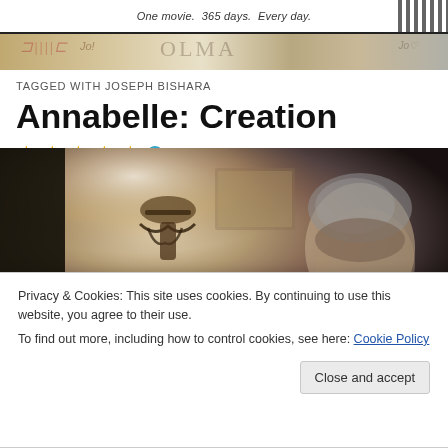One movie. 365 days. Every day.
[Figure (photo): Decorative banner strip with text fragments resembling cinema or film-related content]
TAGGED WITH JOSEPH BISHARA
Annabelle: Creation
★★★★★ ℹ 9 Votes
[Figure (photo): Dark moody still from Annabelle: Creation showing an older man with grey hair in a dimly lit interior with ornate wall decorations]
Privacy & Cookies: This site uses cookies. By continuing to use this website, you agree to their use.
To find out more, including how to control cookies, see here: Cookie Policy
Close and accept